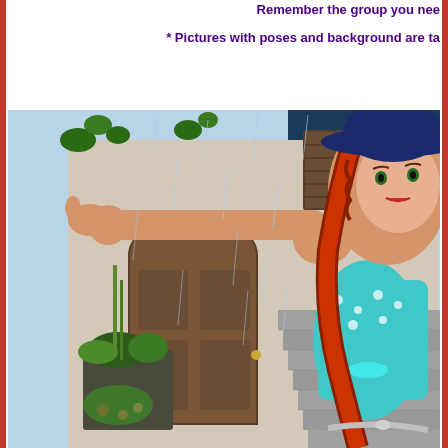Remember the group you nee
* Pictures with poses and background are ta
[Figure (illustration): Digital illustration of a red-haired woman with braids wearing a blue hat and teal floral outfit, standing in the rain near a rustic building with an arched wooden door, stone stairs, and potted plants. She extends one arm outward. Rain is falling.]